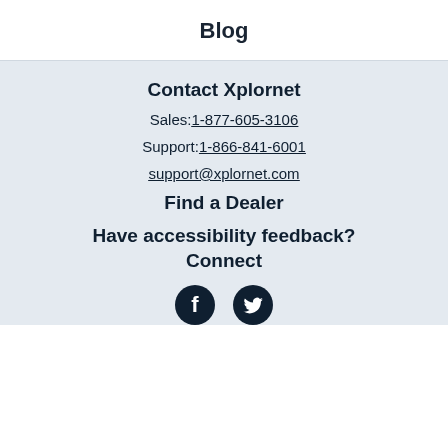Blog
Contact Xplornet
Sales:1-877-605-3106
Support:1-866-841-6001
support@xplornet.com
Find a Dealer
Have accessibility feedback? Connect
[Figure (illustration): Facebook and Twitter social media icons (circular black icons with white logos)]